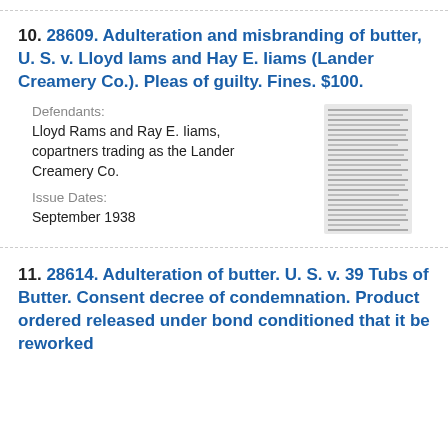10. 28609. Adulteration and misbranding of butter, U. S. v. Lloyd Iams and Hay E. Iiams (Lander Creamery Co.). Pleas of guilty. Fines. $100.
Defendants: Lloyd Rams and Ray E. Iiams, copartners trading as the Lander Creamery Co.
Issue Dates: September 1938
[Figure (other): Thumbnail image of a document page showing dense text, likely the referenced legal filing]
11. 28614. Adulteration of butter. U. S. v. 39 Tubs of Butter. Consent decree of condemnation. Product ordered released under bond conditioned that it be reworked